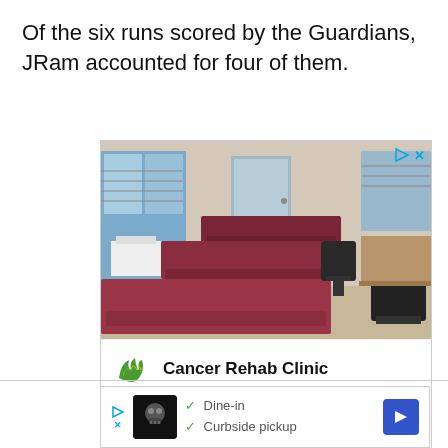Of the six runs scored by the Guardians, JRam accounted for four of them.
[Figure (photo): Advertisement image showing a physical therapy clinic room with multiple dark red/maroon padded treatment tables, office chairs, and windows with blinds.]
Cancer Rehab Clinic
Oncology Rehab and Wellness Resourc.. Ashburn 9AM–5:30PM
[Figure (other): Second advertisement showing a restaurant with dine-in and curbside pickup options.]
Dine-in
Curbside pickup